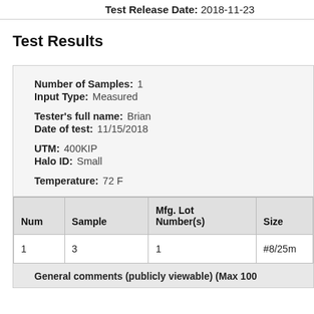Test Release Date:  2018-11-23
Test Results
Number of Samples:  1
Input Type:  Measured
Tester's full name:  Brian
Date of test:  11/15/2018
UTM:  400KIP
Halo ID:  Small
Temperature:  72 F
| Num | Sample | Mfg. Lot Number(s) | Size |
| --- | --- | --- | --- |
| 1 | 3 | 1 | #8/25m |
General comments (publicly viewable) (Max 100